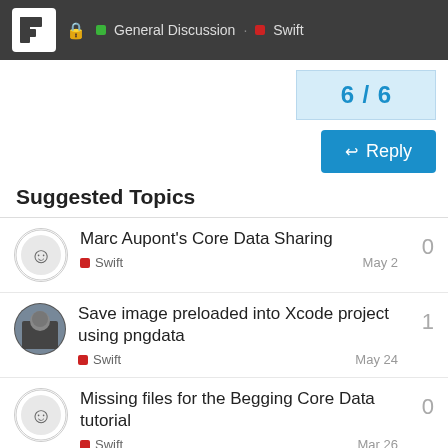General Discussion · Swift
6 / 6
Reply
Suggested Topics
Marc Aupont's Core Data Sharing — Swift — May 2 — 0
Save image preloaded into Xcode project using pngdata — Swift — May 24 — 1
Missing files for the Begging Core Data tutorial — Swift — Mar 26 — 0
There is no tabbed app template in Xcode 13.3 — 0